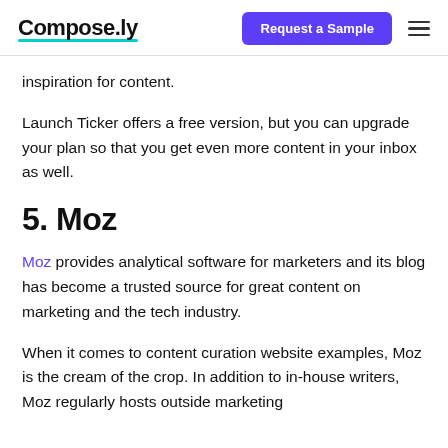Compose.ly | Request a Sample
inspiration for content.
Launch Ticker offers a free version, but you can upgrade your plan so that you get even more content in your inbox as well.
5. Moz
Moz provides analytical software for marketers and its blog has become a trusted source for great content on marketing and the tech industry.
When it comes to content curation website examples, Moz is the cream of the crop. In addition to in-house writers, Moz regularly hosts outside marketing